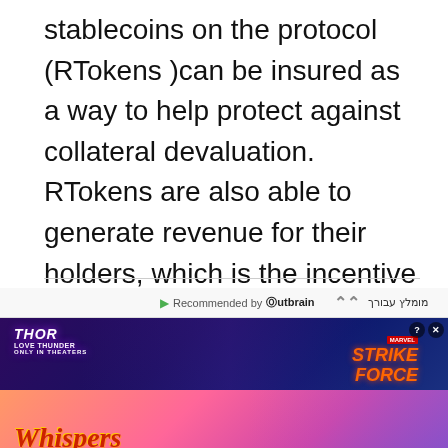stablecoins on the protocol (RTokens )can be insured as a way to help protect against collateral devaluation. RTokens are also able to generate revenue for their holders, which is the incentive for RSR holders to stake their RSR on a specific RToken.
[Figure (other): Advertisement section with Outbrain recommendation widget showing two ads: Thor Love and Thunder / Marvel Strike Force game ad (top), and Whispers interactive story app ad (bottom)]